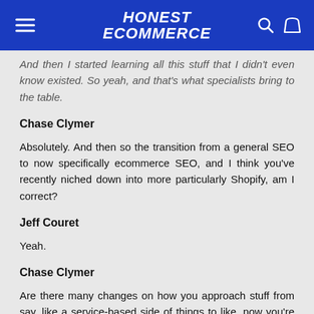HONEST ECOMMERCE
And then I started learning all this stuff that I didn't even know existed. So yeah, and that's what specialists bring to the table.
Chase Clymer
Absolutely. And then so the transition from a general SEO to now specifically ecommerce SEO, and I think you've recently niched down into more particularly Shopify, am I correct?
Jeff Couret
Yeah.
Chase Clymer
Are there many changes on how you approach stuff from say, like a service-based side of things to like, now you're trying to sell products?
Jeff Couret